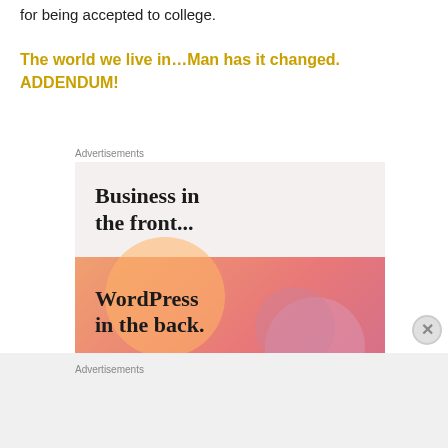for being accepted to college.
The world we live in…Man has it changed.
ADDENDUM!
Advertisements
[Figure (screenshot): Advertisement showing 'Business in the front... WordPress in the back.' The top half has a light beige background with serif bold text, the bottom half has an orange-pink gradient background with circular blobs and serif bold text.]
Advertisements